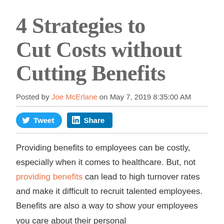4 Strategies to Cut Costs without Cutting Benefits
Posted by Joe McErlane on May 7, 2019 8:35:00 AM
[Figure (other): Social sharing buttons: Tweet (Twitter) and Share (LinkedIn)]
Providing benefits to employees can be costly, especially when it comes to healthcare. But, not providing benefits can lead to high turnover rates and make it difficult to recruit talented employees. Benefits are also a way to show your employees you care about their personal